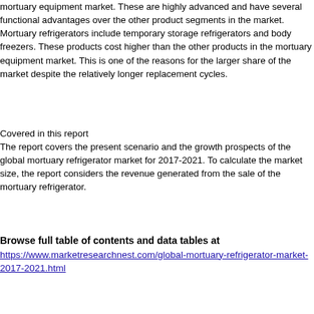mortuary equipment market. These are highly advanced and have several functional advantages over the other product segments in the market. Mortuary refrigerators include temporary storage refrigerators and body freezers. These products cost higher than the other products in the mortuary equipment market. This is one of the reasons for the larger share of the market despite the relatively longer replacement cycles.
Covered in this report
The report covers the present scenario and the growth prospects of the global mortuary refrigerator market for 2017-2021. To calculate the market size, the report considers the revenue generated from the sale of the mortuary refrigerator.
Browse full table of contents and data tables at https://www.marketresearchnest.com/global-mortuary-refrigerator-market-2017-2021.html